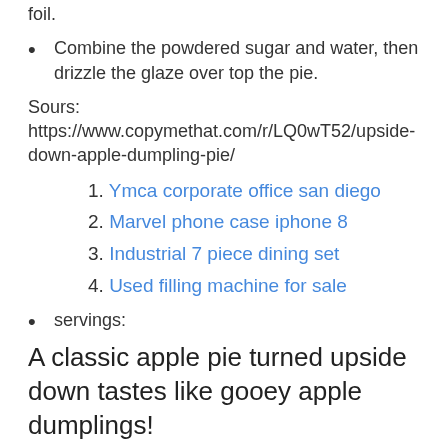foil.
Combine the powdered sugar and water, then drizzle the glaze over top the pie.
Sours: https://www.copymethat.com/r/LQ0wT52/upside-down-apple-dumpling-pie/
1. Ymca corporate office san diego
2. Marvel phone case iphone 8
3. Industrial 7 piece dining set
4. Used filling machine for sale
servings:
A classic apple pie turned upside down tastes like gooey apple dumplings!
2 refrigerated pie crusts for 9 inch pies (or your favorite homemade pie dough)
FILLING:
6 tablespoons butter, melted, divided
1/2 cup packed brown sugar
1/2 cup chopped pecans